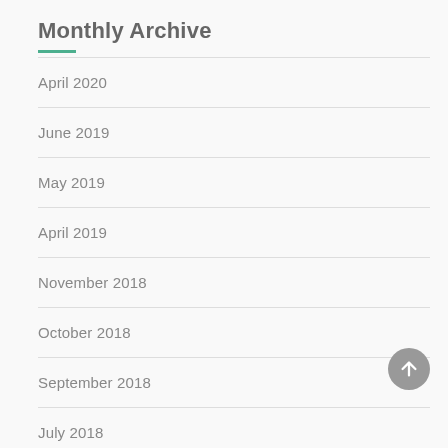Monthly Archive
April 2020
June 2019
May 2019
April 2019
November 2018
October 2018
September 2018
July 2018